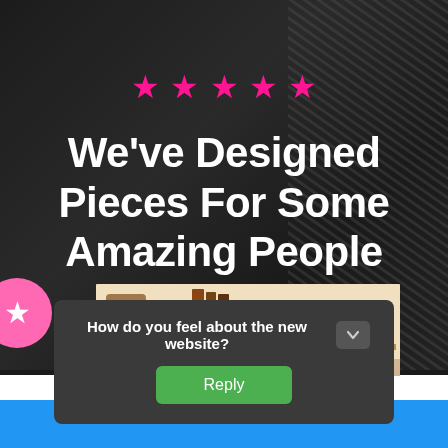[Figure (screenshot): Website screenshot showing a dark background with fabric/textile texture on the right side]
★ ★ ★ ★ ★ (five pink stars)
We've Designed Pieces For Some Amazing People
[Figure (photo): Photo of two women smiling together, shelving unit in background]
True Love (It's Snacks) Doorknoocker as
How do you feel about the new website?
Reply